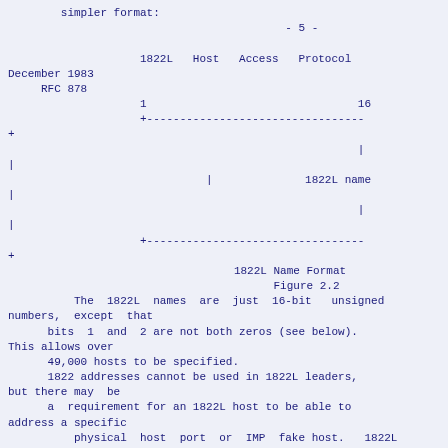simpler format:
1822L   Host   Access   Protocol
December 1983
     RFC 878
- 5 -
[Figure (schematic): ASCII diagram of 1822L Name Format (Figure 2.2) showing a 16-bit field labeled '1822L name' with bit positions 1 and 16 marked, enclosed in dashed-line box with + corners and | sides.]
1822L Name Format
Figure 2.2
The 1822L names are just 16-bit  unsigned numbers, except  that
     bits  1  and  2 are not both zeros (see below). This allows over
     49,000 hosts to be specified.
     1822 addresses cannot be used in 1822L leaders, but there may  be
     a  requirement for an 1822L host to be able to address a specific
     physical host port or IMP fake host.  1822L addresses  are  used